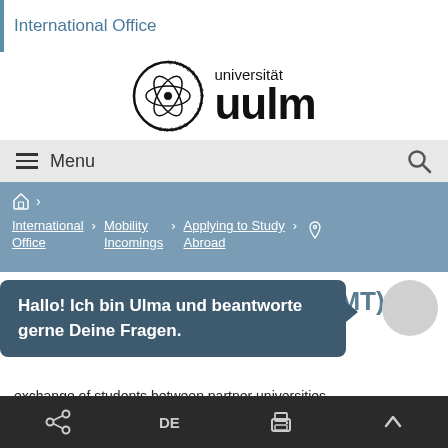International Office
[Figure (logo): Universität Ulm logo with circular emblem and 'universität uulm' text]
Menu
🏠 › International Office › Mobility Incomings › Applying to Study Abroad › 📍
Erasmus+ Traineeships (SMT)
Hallo! Ich bin Ulma und beantworte gerne Deine Fragen.
exchange of students between partner universities
Share  DE  Print  ^